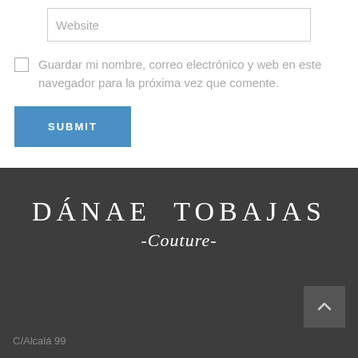Website
Guardar mi nombre, correo electrónico y web en este navegador para la próxima vez que comente.
SUBMIT
[Figure (logo): Dánae Tobajas Couture brand logo in white serif text on dark grey background]
C/Alcalá 99